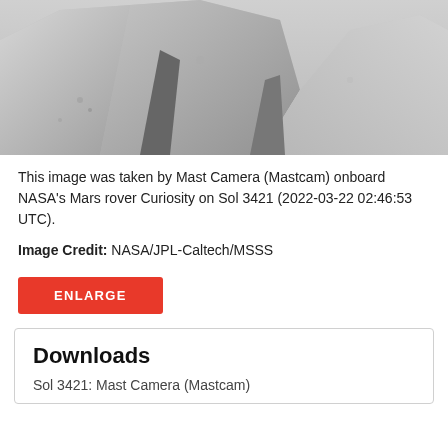[Figure (photo): Grayscale photo of Mars surface rocks taken by Mast Camera (Mastcam) onboard NASA's Mars rover Curiosity on Sol 3421]
This image was taken by Mast Camera (Mastcam) onboard NASA's Mars rover Curiosity on Sol 3421 (2022-03-22 02:46:53 UTC).
Image Credit: NASA/JPL-Caltech/MSSS
ENLARGE
Downloads
Sol 3421: Mast Camera (Mastcam)